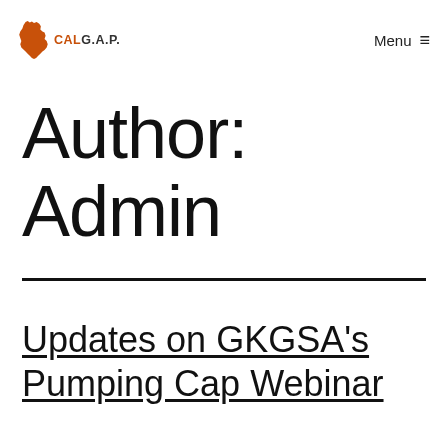CAL G.A.P.  Menu ≡
Author: Admin
Updates on GKGSA's Pumping Cap Webinar